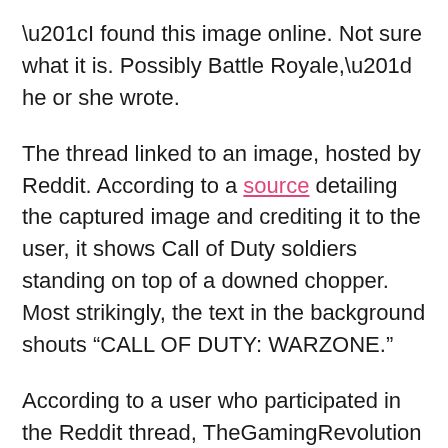“I found this image online. Not sure what it is. Possibly Battle Royale,” he or she wrote.
The thread linked to an image, hosted by Reddit. According to a source detailing the captured image and crediting it to the user, it shows Call of Duty soldiers standing on top of a downed chopper. Most strikingly, the text in the background shouts “CALL OF DUTY: WARZONE.”
According to a user who participated in the Reddit thread, TheGamingRevolution confirmed on Twitter that the image was “legit”. However, the tweet was removed and according to Twitter, that account has now been suspended. Another tweet, published by a